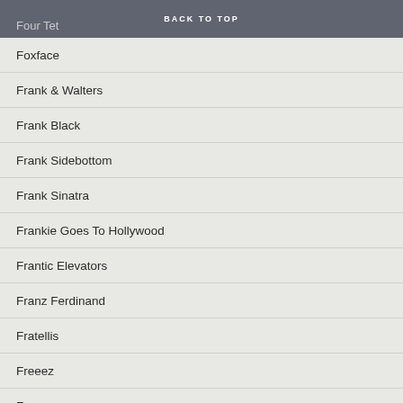BACK TO TOP
Four Tet
Foxface
Frank & Walters
Frank Black
Frank Sidebottom
Frank Sinatra
Frankie Goes To Hollywood
Frantic Elevators
Franz Ferdinand
Fratellis
Freeez
Freeze
French Impressionists